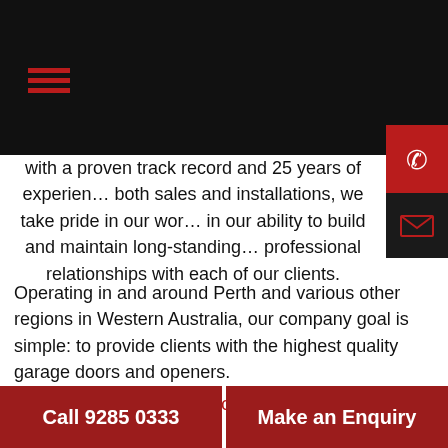with a proven track record and 25 years of experience in both sales and installations, we take pride in our work and in our ability to build and maintain long-standing professional relationships with each of our clients.
Operating in and around Perth and various other regions in Western Australia, our company goal is simple: to provide clients with the highest quality garage doors and openers.
Read more or Contact Us Today!
Call 9285 0333
Make an Enquiry